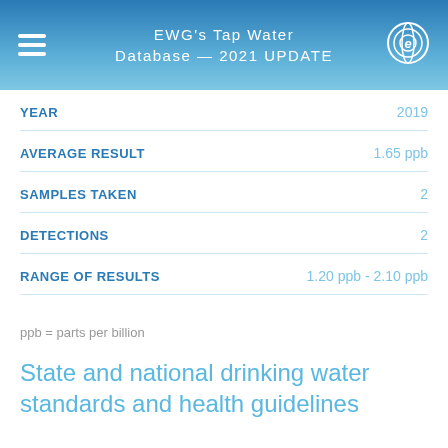EWG's Tap Water Database — 2021 UPDATE
| Field | Value |
| --- | --- |
| YEAR | 2019 |
| AVERAGE RESULT | 1.65 ppb |
| SAMPLES TAKEN | 2 |
| DETECTIONS | 2 |
| RANGE OF RESULTS | 1.20 ppb - 2.10 ppb |
ppb = parts per billion
State and national drinking water standards and health guidelines